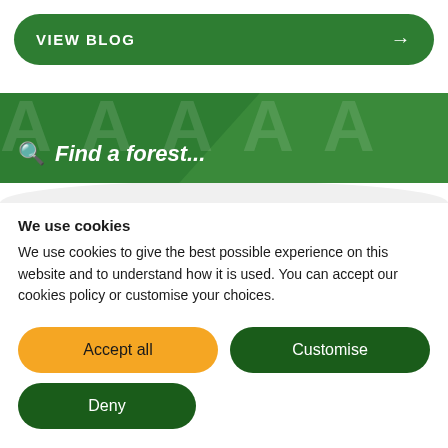[Figure (screenshot): Green rounded button labeled VIEW BLOG with a right arrow]
[Figure (screenshot): Green banner with search icon and italic text 'Find a forest...' with decorative background letters]
We use cookies
We use cookies to give the best possible experience on this website and to understand how it is used. You can accept our cookies policy or customise your choices.
[Figure (screenshot): Cookie consent buttons: Accept all (yellow), Customise (dark green), Deny (dark green)]